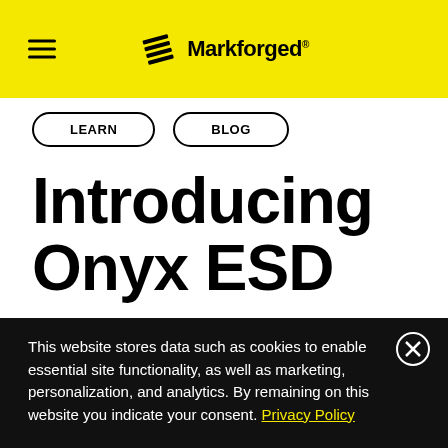Markforged
LEARN
BLOG
Introducing Onyx ESD
By Thomas Muscolo, Principal Product Manager
This website stores data such as cookies to enable essential site functionality, as well as marketing, personalization, and analytics. By remaining on this website you indicate your consent. Privacy Policy